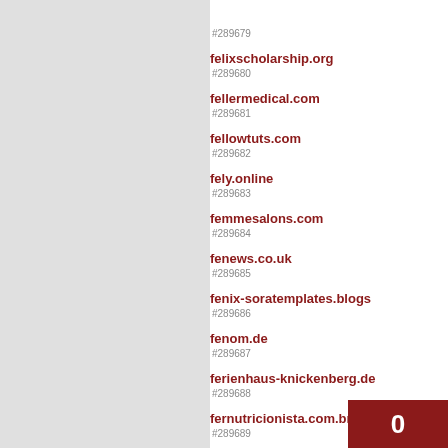#289679
#289680 felixscholarship.org
#289681 fellermedical.com
#289682 fellowtuts.com
#289683 fely.online
#289684 femmesalons.com
#289685 fenews.co.uk
#289686 fenix-soratemplates.blogs
#289687 fenom.de
#289688 ferienhaus-knickenberg.de
#289689 fernutricionista.com.br
#289690 ferrogen.com.au
#289691 ferrum.com.pl